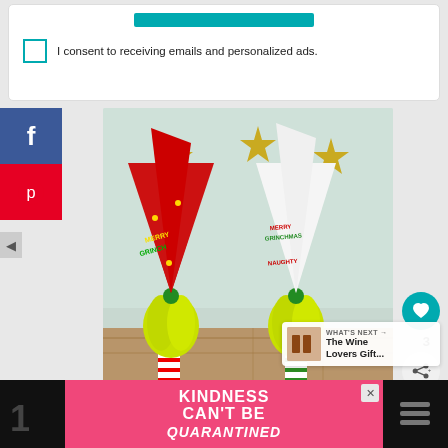I consent to receiving emails and personalized ads.
[Figure (photo): Two Grinch-themed Christmas gnomes with tall pointed hats — one red with 'Merry Grinchmas' text and one white/green with 'Naughty' text — both with bright yellow-green fluffy beards, displayed on a wooden surface with gold star decorations in the background.]
f
p
3
WHAT'S NEXT → The Wine Lovers Gift...
KINDNESS CAN'T BE QUARANTINED